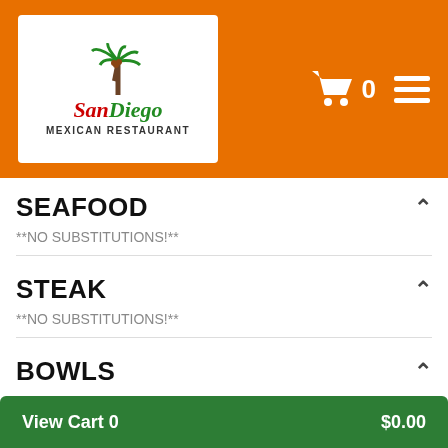[Figure (logo): San Diego Mexican Restaurant logo with palm tree, red and green text on white background, inside orange header bar with shopping cart icon showing 0 and hamburger menu icon]
SEAFOOD
**NO SUBSTITUTIONS!**
STEAK
**NO SUBSTITUTIONS!**
BOWLS
All bowls include Mexican rice, black beans, lettuce, shredded cheese, tomatoes, sour cream, guacamole.
A LA CARTE
View Cart 0   $0.00